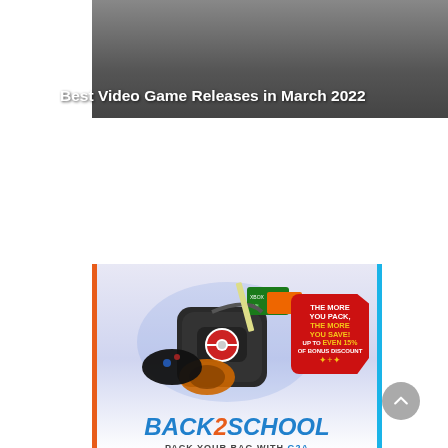[Figure (illustration): Dark grey hero banner background with gaming aesthetic]
Best Video Game Releases in March 2022
[Figure (infographic): G2A Back2School promotional advertisement. Shows a gaming backpack with Xbox Live card, headphones, and controller. Red tag bubble reads: THE MORE YOU PACK, THE MORE YOU SAVE! UP TO EVEN 15% OF BONUS DISCOUNT. Text BACK2SCHOOL in blue bold italic font. PACK YOUR BAG WITH G2A. Two orange discount boxes: Up to -25% and Up to -37%.]